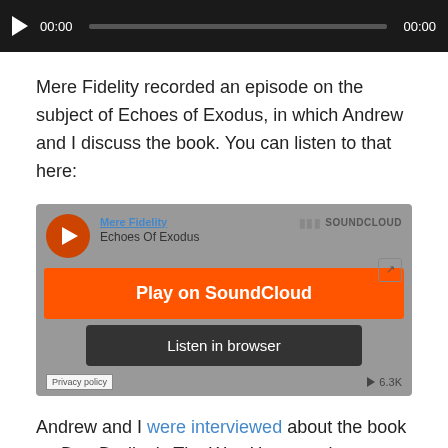[Figure (screenshot): Audio player bar with play button, timestamp 00:00, progress bar, and end time 00:00 on dark background]
Mere Fidelity recorded an episode on the subject of Echoes of Exodus, in which Andrew and I discuss the book. You can listen to that here:
[Figure (screenshot): SoundCloud embedded widget showing Mere Fidelity - Echoes Of Exodus with Play on SoundCloud button and Listen in browser button, 6.3K plays]
Andrew and I were interviewed about the book on Dan Darling's The Way Home podcast.